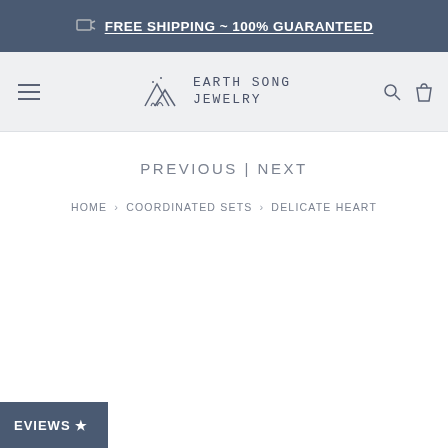FREE SHIPPING ~ 100% GUARANTEED
[Figure (logo): Earth Song Jewelry logo with mountain/nature illustration and stylized handwritten text]
PREVIOUS | NEXT
HOME > COORDINATED SETS > DELICATE HEART
EVIEWS ★